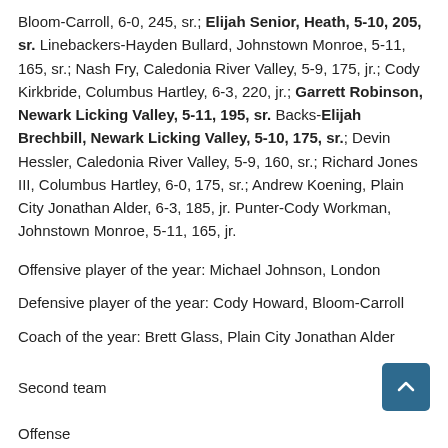Bloom-Carroll, 6-0, 245, sr.; Elijah Senior, Heath, 5-10, 205, sr. Linebackers-Hayden Bullard, Johnstown Monroe, 5-11, 165, sr.; Nash Fry, Caledonia River Valley, 5-9, 175, jr.; Cody Kirkbride, Columbus Hartley, 6-3, 220, jr.; Garrett Robinson, Newark Licking Valley, 5-11, 195, sr. Backs-Elijah Brechbill, Newark Licking Valley, 5-10, 175, sr.; Devin Hessler, Caledonia River Valley, 5-9, 160, sr.; Richard Jones III, Columbus Hartley, 6-0, 175, sr.; Andrew Koening, Plain City Jonathan Alder, 6-3, 185, jr. Punter-Cody Workman, Johnstown Monroe, 5-11, 165, jr.
Offensive player of the year: Michael Johnson, London
Defensive player of the year: Cody Howard, Bloom-Carroll
Coach of the year: Brett Glass, Plain City Jonathan Alder
Second team
Offense